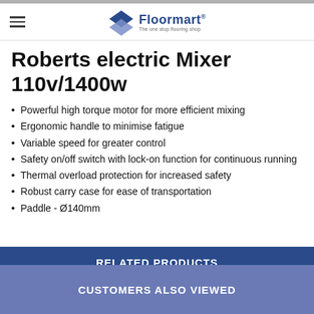Floormart — The one stop flooring shop
Roberts electric Mixer 110v/1400w
Powerful high torque motor for more efficient mixing
Ergonomic handle to minimise fatigue
Variable speed for greater control
Safety on/off switch with lock-on function for continuous running
Thermal overload protection for increased safety
Robust carry case for ease of transportation
Paddle - Ø140mm
RELATED PRODUCTS
CUSTOMERS ALSO VIEWED